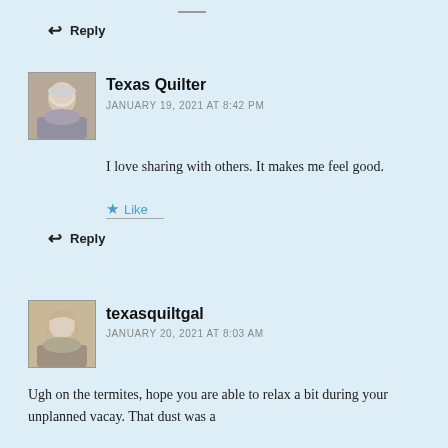↩ Reply
[Figure (photo): Avatar photo of Texas Quilter, an older woman with short white/gray hair]
Texas Quilter
JANUARY 19, 2021 AT 8:42 PM
I love sharing with others. It makes me feel good.
★ Like
↩ Reply
[Figure (photo): Avatar photo of texasquiltgal, a woman with shoulder-length hair]
texasquiltgal
JANUARY 20, 2021 AT 8:03 AM
Ugh on the termites, hope you are able to relax a bit during your unplanned vacay. That dust was a